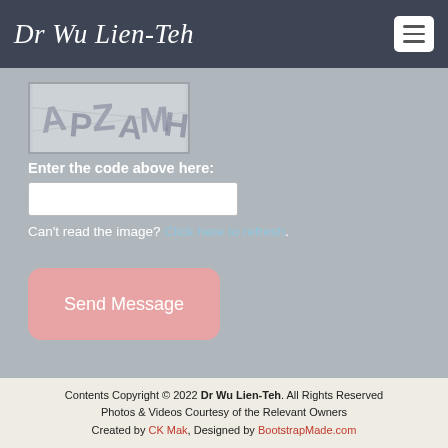Dr Wu Lien-Teh
[Figure (other): CAPTCHA image with distorted characters]
Enter the code above here:
Can't read the image? Click here to refresh.
Send Message
Contents Copyright © 2022 Dr Wu Lien-Teh. All Rights Reserved
Photos & Videos Courtesy of the Relevant Owners
Created by CK Mak, Designed by BootstrapMade.com